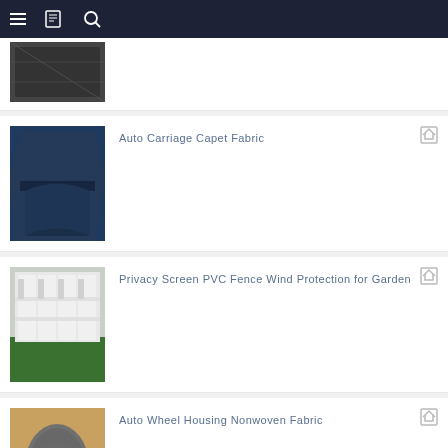Navigation bar with menu, bookmark, and search icons
[Figure (photo): Partial product image (dark textured material), cropped at top]
[Figure (photo): Auto Carriage Carpet Fabric product image - dark blue fabric with folded sample]
Auto Carriage Capet Fabric
[Figure (photo): Privacy Screen PVC Fence Wind Protection for Garden - white vinyl fence panels]
Privacy Screen PVC Fence Wind Protection for Garden
[Figure (photo): Auto Wheel Housing Nonwoven Fabric - grey molded fabric piece]
Auto Wheel Housing Nonwoven Fabric
[Figure (photo): Polytop pins plastic head stainless steel nails for roof - nails with hammers]
Polytop pins plastic head stainless steel nails for roof